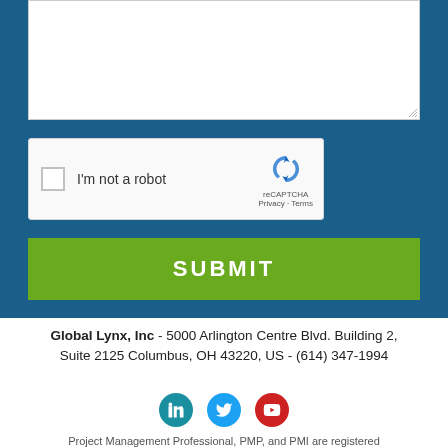[Figure (screenshot): White textarea input box with resize handle at bottom-right corner, on blue background]
[Figure (screenshot): reCAPTCHA widget with checkbox labeled 'I'm not a robot' and reCAPTCHA logo with Privacy and Terms links]
[Figure (screenshot): Green SUBMIT button with white bold text]
Global Lynx, Inc - 5000 Arlington Centre Blvd. Building 2, Suite 2125 Columbus, OH 43220, US - (614) 347-1994
[Figure (infographic): Three social media icons: LinkedIn (teal), Twitter (light blue), YouTube (red)]
Project Management Professional, PMP, and PMI are registered